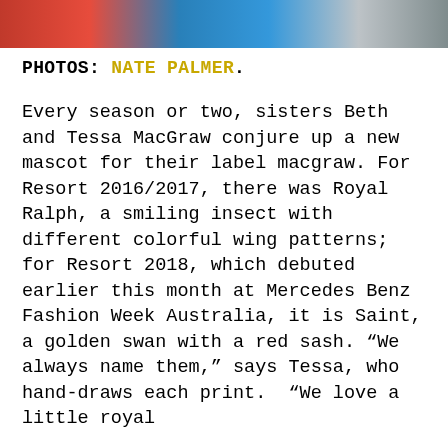[Figure (photo): Top portion of a photo strip showing people in colorful clothing (red, blue, grey tones), cropped at the top of the page]
PHOTOS: NATE PALMER.
Every season or two, sisters Beth and Tessa MacGraw conjure up a new mascot for their label macgraw. For Resort 2016/2017, there was Royal Ralph, a smiling insect with different colorful wing patterns; for Resort 2018, which debuted earlier this month at Mercedes Benz Fashion Week Australia, it is Saint, a golden swan with a red sash. “We always name them,” says Tessa, who hand-draws each print.  “We love a little royal